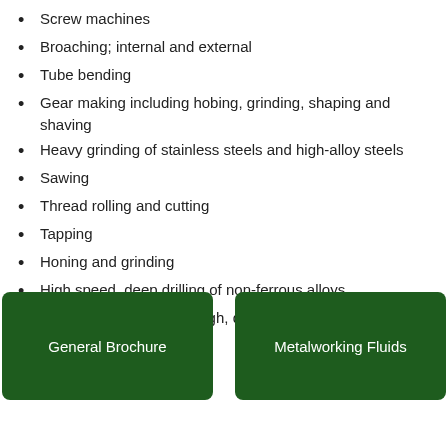Screw machines
Broaching; internal and external
Tube bending
Gear making including hobing, grinding, shaping and shaving
Heavy grinding of stainless steels and high-alloy steels
Sawing
Thread rolling and cutting
Tapping
Honing and grinding
High speed, deep drilling of non-ferrous alloys
Machining operations tough, draggy metals
General Brochure
Metalworking Fluids